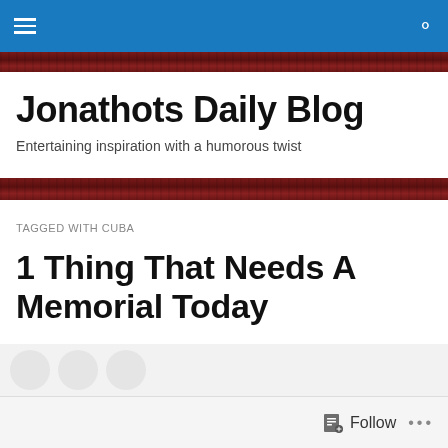Jonathots Daily Blog — navigation bar
Jonathots Daily Blog
Entertaining inspiration with a humorous twist
TAGGED WITH CUBA
1 Thing That Needs A Memorial Today
[Figure (illustration): Partial illustration of a red shape (map or graphic) at the bottom of the page, cut off]
Follow